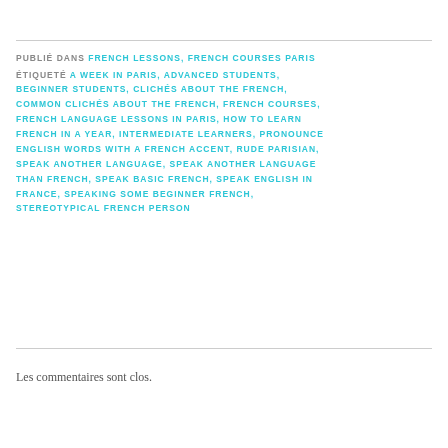PUBLIÉ DANS FRENCH LESSONS, FRENCH COURSES PARIS
ÉTIQUETÉ A WEEK IN PARIS, ADVANCED STUDENTS, BEGINNER STUDENTS, CLICHÉS ABOUT THE FRENCH, COMMON CLICHÉS ABOUT THE FRENCH, FRENCH COURSES, FRENCH LANGUAGE LESSONS IN PARIS, HOW TO LEARN FRENCH IN A YEAR, INTERMEDIATE LEARNERS, PRONOUNCE ENGLISH WORDS WITH A FRENCH ACCENT, RUDE PARISIAN, SPEAK ANOTHER LANGUAGE, SPEAK ANOTHER LANGUAGE THAN FRENCH, SPEAK BASIC FRENCH, SPEAK ENGLISH IN FRANCE, SPEAKING SOME BEGINNER FRENCH, STEREOTYPICAL FRENCH PERSON
Les commentaires sont clos.